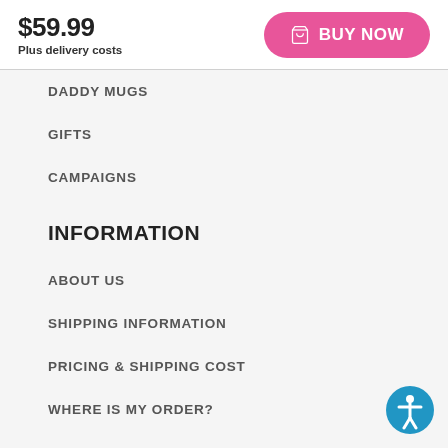$59.99
Plus delivery costs
[Figure (other): Pink BUY NOW button with shopping cart icon]
DADDY MUGS
GIFTS
CAMPAIGNS
INFORMATION
ABOUT US
SHIPPING INFORMATION
PRICING & SHIPPING COST
WHERE IS MY ORDER?
TERMS AND CONDITIONS
INTELLECTUAL PROPERTY
[Figure (other): Blue circular accessibility icon button in bottom right corner]